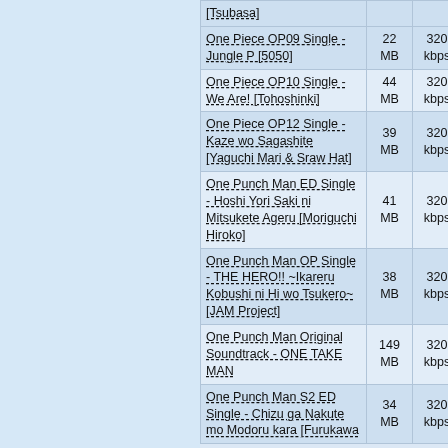| Name | Size | Bitrate | Hash |
| --- | --- | --- | --- |
| [Tsubasa] |  |  |  |
| One Piece OP09 Single - Jungle P [5050] | 22 MB | 320 kbps | 9AA3 |
| One Piece OP10 Single - We Are! [Tohoshinki] | 44 MB | 320 kbps | 915A |
| One Piece OP12 Single - Kaze wo Sagashite [Yaguchi Mari & Sraw Hat] | 39 MB | 320 kbps | 2B40 |
| One Punch Man ED Single - Hoshi Yori Saki ni Mitsukete Ageru [Moriguchi Hiroko] | 41 MB | 320 kbps | 0833 |
| One Punch Man OP Single - THE HERO!! ~Ikareru Kobushi ni Hi wo Tsukero~ [JAM Project] | 38 MB | 320 kbps | D5C0 |
| One Punch Man Original Soundtrack - ONE TAKE MAN | 149 MB | 320 kbps | 0D40 |
| One Punch Man S2 ED Single - Chizu ga Nakute mo Modoru kara [Furukawa | 34 MB | 320 kbps | 13E0 |